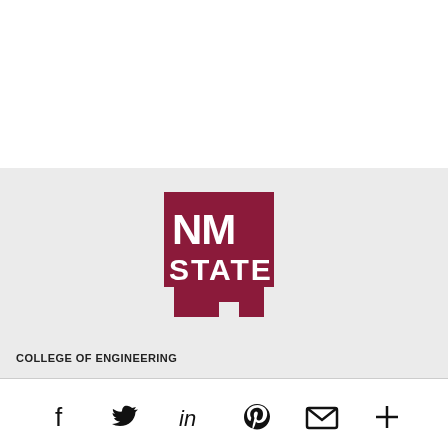[Figure (logo): NM State University logo — dark red/maroon square with white letters NM STATE and the outline of New Mexico state shape at the bottom, on a light gray background]
COLLEGE OF ENGINEERING
[Figure (infographic): Social media share icons row: Facebook, Twitter, LinkedIn, Pinterest, Email (envelope), and a plus/more icon]